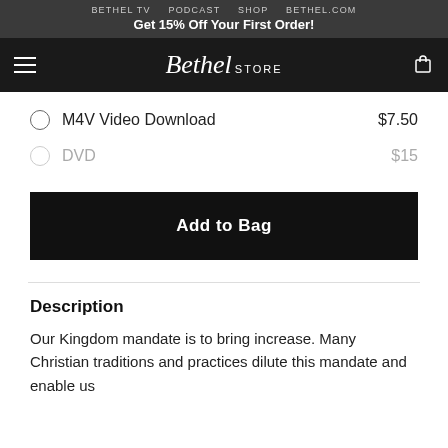BETHEL TV  PODCAST  SHOP  BETHEL.COM
Get 15% Off Your First Order!
Bethel STORE
M4V Video Download  $7.50
DVD  $15
Add to Bag
Description
Our Kingdom mandate is to bring increase. Many Christian traditions and practices dilute this mandate and enable us